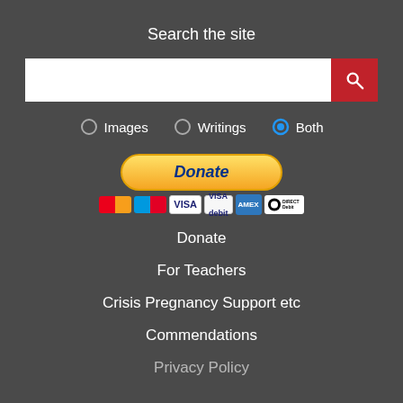Search the site
[Figure (screenshot): Search bar with white text input field and red search button with magnifying glass icon]
[Figure (screenshot): Radio button row with three options: Images (unselected), Writings (unselected), Both (selected, shown with blue ring)]
[Figure (screenshot): PayPal Donate button with payment card logos below: Mastercard, Maestro, Visa, Visa Debit, Amex, Direct Debit]
Donate
For Teachers
Crisis Pregnancy Support etc
Commendations
Privacy Policy